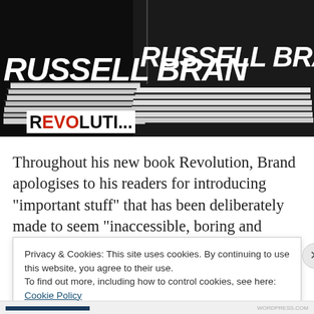[Figure (photo): Photo of Russell Brand book covers stacked, showing 'RUSSELL BRAND' text in white bold italic on dark background, with 'REVOLUTION' text visible at bottom left with 'EVO' in red]
Throughout his new book Revolution, Brand apologises to his readers for introducing “important stuff” that has been deliberately made to seem “inaccessible, boring and abstract”. The alternative, according to Brand, is to:
Privacy & Cookies: This site uses cookies. By continuing to use this website, you agree to their use.
To find out more, including how to control cookies, see here: Cookie Policy